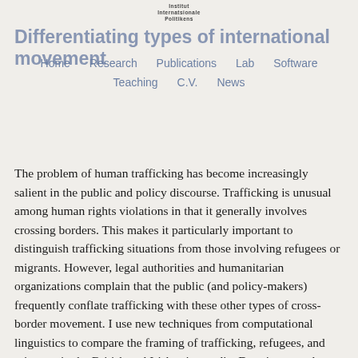Institut
Internationale
Politikens
Differentiating types of international movement
Home   Research   Publications   Lab   Software   Teaching   C.V.   News
The problem of human trafficking has become increasingly salient in the public and policy discourse. Trafficking is unusual among human rights violations in that it generally involves crossing borders. This makes it particularly important to distinguish trafficking situations from those involving refugees or migrants. However, legal authorities and humanitarian organizations complain that the public (and policy-makers) frequently conflate trafficking with these other types of cross-border movement. I use new techniques from computational linguistics to compare the framing of trafficking, refugees, and migrants in the British and Irish print media. Drawing on a dataset of hundreds of thousands of articles, I show that trafficking is framed far more similarly to cases of (illegal) migration than to cases of other human rights violations.